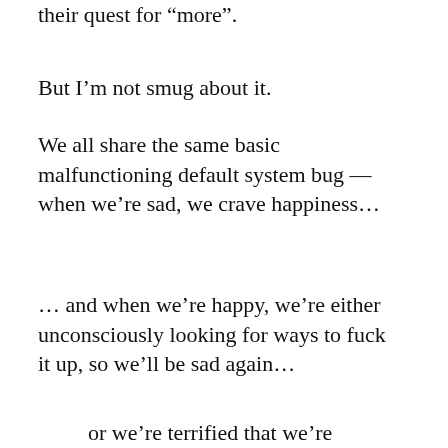their quest for “more”.
But I’m not smug about it.
We all share the same basic malfunctioning default system bug — when we’re sad, we crave happiness…
… and when we’re happy, we’re either unconsciously looking for ways to fuck it up, so we’ll be sad again…
or we’re terrified that we’re